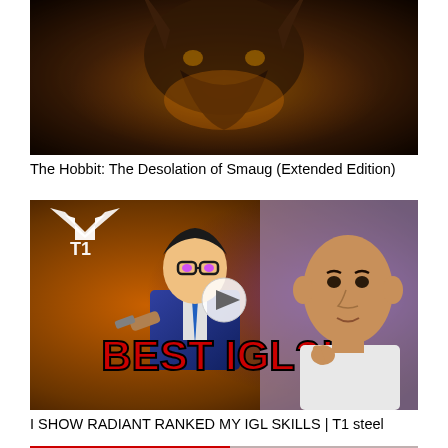[Figure (screenshot): YouTube video thumbnail for The Hobbit: The Desolation of Smaug (Extended Edition) — dark fantasy dragon image with golden/brown tones]
The Hobbit: The Desolation of Smaug (Extended Edition)
[Figure (screenshot): YouTube video thumbnail showing Valorant game character with glowing eyes, T1 esports logo, animated character holding a gun, text 'BEST IGL?!' in red block letters, and a real person (steel from T1) on the right giving thumbs up. Play button overlay visible.]
I SHOW RADIANT RANKED MY IGL SKILLS | T1 steel
[Figure (screenshot): Partially visible third YouTube video thumbnail at bottom of page with red and dark tones]